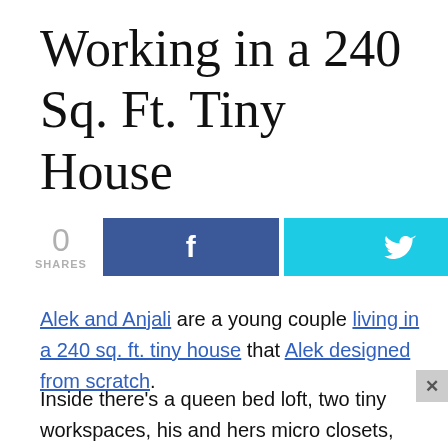Working in a 240 Sq. Ft. Tiny House
[Figure (infographic): Social share buttons: 0 SHARES count, Facebook button (dark blue with f icon), Twitter button (cyan with bird icon)]
Alek and Anjali are a young couple living in a 240 sq. ft. tiny house that Alek designed from scratch.
Inside there’s a queen bed loft, two tiny workspaces, his and hers micro closets, tons of built-in storage, and many more smart and useful custom tiny design ideas.